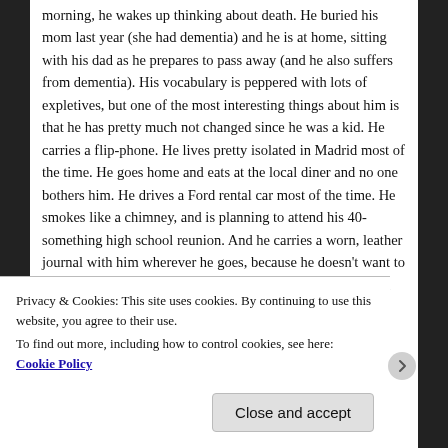morning, he wakes up thinking about death. He buried his mom last year (she had dementia) and he is at home, sitting with his dad as he prepares to pass away (and he also suffers from dementia). His vocabulary is peppered with lots of expletives, but one of the most interesting things about him is that he has pretty much not changed since he was a kid. He carries a flip-phone. He lives pretty isolated in Madrid most of the time. He goes home and eats at the local diner and no one bothers him. He drives a Ford rental car most of the time. He smokes like a chimney, and is planning to attend his 40-something high school reunion. And he carries a worn, leather journal with him wherever he goes, because he doesn't want to miss anything. In the article the writer shared how he pulled over on the side of the road because he saw a gorgeous
Privacy & Cookies: This site uses cookies. By continuing to use this website, you agree to their use.
To find out more, including how to control cookies, see here: Cookie Policy